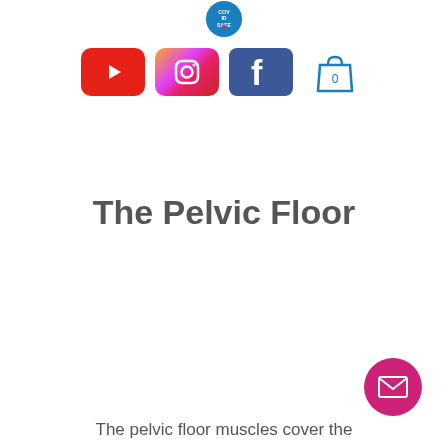[Figure (logo): COVID SAFE badge partially visible at top center]
[Figure (logo): Row of social media icons: YouTube, Instagram, Facebook, and a shopping bag icon]
The Pelvic Floor
[Figure (logo): Pink circular email/contact button with envelope icon, bottom right]
The pelvic floor muscles cover the